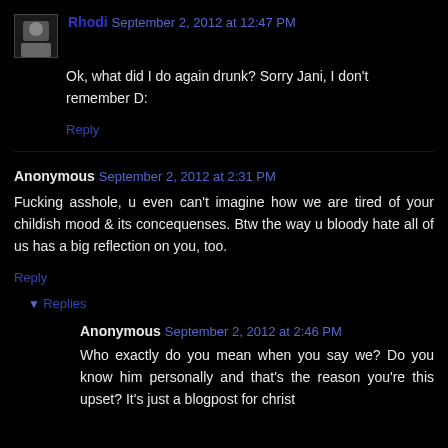Rhodi September 2, 2012 at 12:47 PM
Ok, what did I do again drunk? Sorry Jani, I don't remember D:
Reply
Anonymous September 2, 2012 at 2:31 PM
Fucking asshole, u even can't imagine how we are tired of your childish mood & its concequenses. Btw the way u bloody hate all of us has a big reflection on you, too.
Reply
Replies
Anonymous September 2, 2012 at 2:46 PM
Who exactly do you mean when you say we? Do you know him personally and that's the reason you're this upset? It's just a blogpost for christ